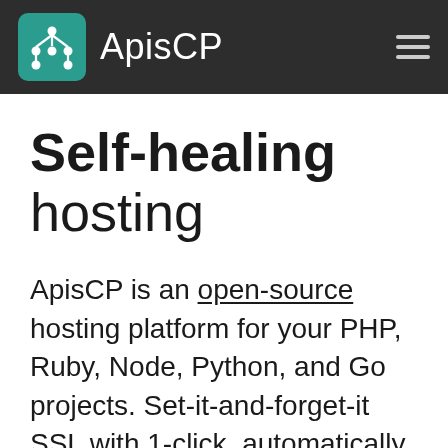ApisCP
Self-healing hosting
ApisCP is an open-source hosting platform for your PHP, Ruby, Node, Python, and Go projects. Set-it-and-forget-it SSL with 1-click, automatically update web apps, securely isolate and clone WordPress sites, block threats real-time, fix OS configuration drifts, resolve service defects, and keep your site operating